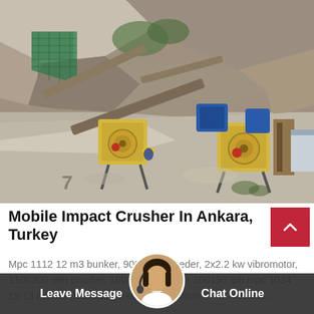[Figure (photo): Aerial/elevated view of a mobile impact crusher installation at a quarry site in Ankara, Turkey. Rocky mountain cliff face in background with green netting. Yellow crushing and screening equipment with blue motor units, conveyor belts, and a worker in yellow hard hat visible. Gravel/stone surroundings.]
Mobile Impact Crusher In Ankara, Turkey
Mpc 1112 12 m3 bunker, 900x3000 feeder, 2x2.2 kw vibromotor, 1100200 mm crusher, 160 kw motor 100150 tph mpc 1014 15 13 bunker 950x2800 feeder kw vibromo 490400...
Leave Message   Chat Online